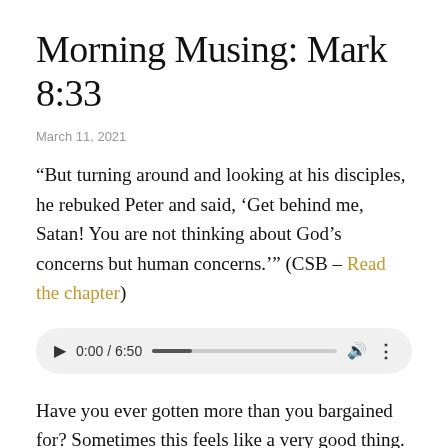Morning Musing: Mark 8:33
March 11, 2021
“But turning around and looking at his disciples, he rebuked Peter and said, ‘Get behind me, Satan! You are not thinking about God’s concerns but human concerns.’” (CSB – Read the chapter)
[Figure (other): Audio player showing 0:00 / 6:50 with play button, progress bar, volume and more options icons]
Have you ever gotten more than you bargained for? Sometimes this feels like a very good thing. I once dropped four tokens on a Kung Fu Panda video game at an arcade where you had to punch these